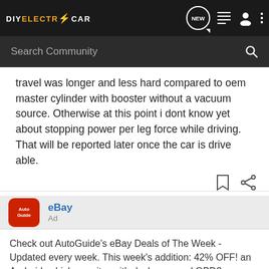DIYELECTRICCAR
travel was longer and less hard compared to oem master cylinder with booster without a vacuum source. Otherwise at this point i dont know yet about stopping power per leg force while driving. That will be reported later once the car is drive able.
eBay
Ad
Check out AutoGuide's eBay Deals of The Week - Updated every week. This week's addition: 42% OFF! an Android vehicle monitor with dash cam and OBD2 scanner. And yes, it's CarPlay compatible.